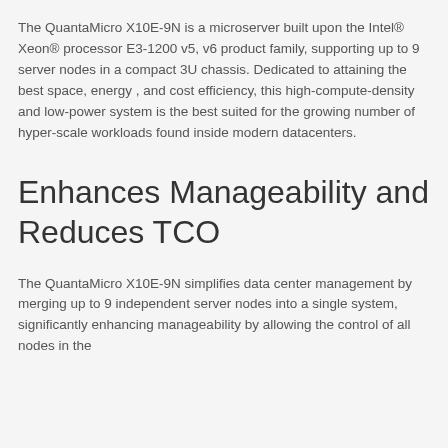The QuantaMicro X10E-9N is a microserver built upon the Intel® Xeon® processor E3-1200 v5, v6 product family, supporting up to 9 server nodes in a compact 3U chassis. Dedicated to attaining the best space, energy , and cost efficiency, this high-compute-density and low-power system is the best suited for the growing number of hyper-scale workloads found inside modern datacenters.
Enhances Manageability and Reduces TCO
The QuantaMicro X10E-9N simplifies data center management by merging up to 9 independent server nodes into a single system, significantly enhancing manageability by allowing the control of all nodes in the